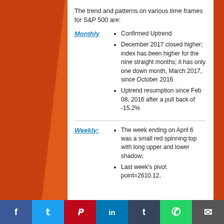The trend and patterns on various time frames for S&P 500 are:
Monthly
Confirmed Uptrend
December 2017 closed higher; index has been higher for the nine straight months; it has only one down month, March 2017, since October 2016
Uptrend resumption since Feb 08, 2016 after a pull back of -15.2%
Weekly:
The week ending on April 6 was a small red spinning top with long upper and lower shadow;
Last week's pivot point=2610.12,
f  t  P  in  t  (whatsapp)  (mail)